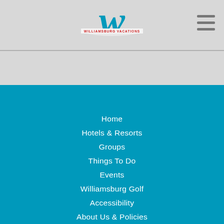[Figure (logo): Williamsburg Vacations logo with stylized W in teal and banner reading WILLIAMSBURG VACATIONS]
Home
Hotels & Resorts
Groups
Things To Do
Events
Williamsburg Golf
Accessibility
About Us & Policies